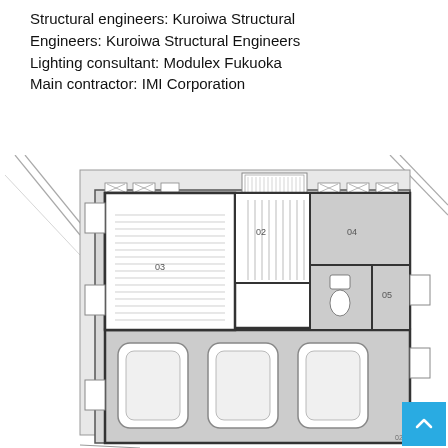Structural engineers: Kuroiwa Structural Engineers: Kuroiwa Structural Engineers
Lighting consultant: Modulex Fukuoka
Main contractor: IMI Corporation
[Figure (engineering-diagram): Architectural floor plan of a building showing a ground floor layout with garage spaces for cars, rooms labeled 01-05, bathroom fixtures, staircase, and structural elements. The building is shown situated on an angled site with diagonal boundary lines. Three car parking spaces are visible in the lower portion of the plan.]